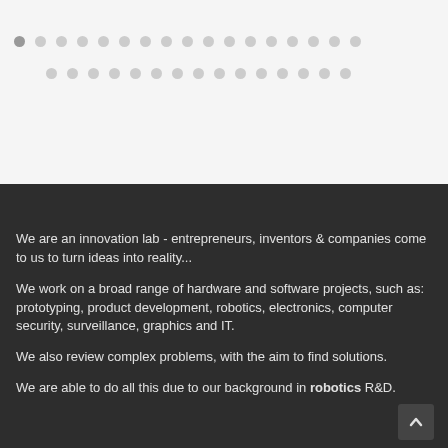[Figure (other): Decorative dot pattern in two rows on light gray background, suggesting a carousel or navigation indicator]
We are an innovation lab - entrepreneurs, inventors & companies come to us to turn ideas into reality...
We work on a broad range of hardware and software projects, such as: prototyping, product development, robotics, electronics, computer security, surveillance, graphics and IT.
We also review complex problems, with the aim to find solutions.
We are able to do all this due to our background in robotics R&D.